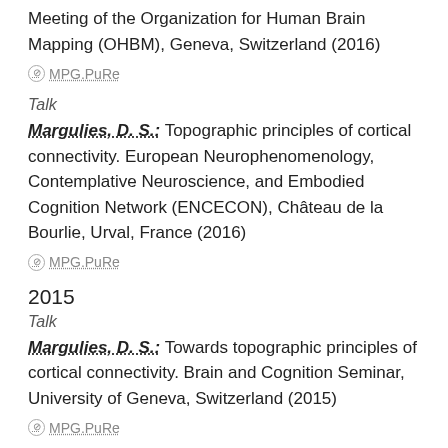Meeting of the Organization for Human Brain Mapping (OHBM), Geneva, Switzerland (2016)
⊙ MPG.PuRe
Talk
Margulies, D. S.: Topographic principles of cortical connectivity. European Neurophenomenology, Contemplative Neuroscience, and Embodied Cognition Network (ENCECON), Château de la Bourlie, Urval, France (2016)
⊙ MPG.PuRe
2015
Talk
Margulies, D. S.: Towards topographic principles of cortical connectivity. Brain and Cognition Seminar, University of Geneva, Switzerland (2015)
⊙ MPG.PuRe